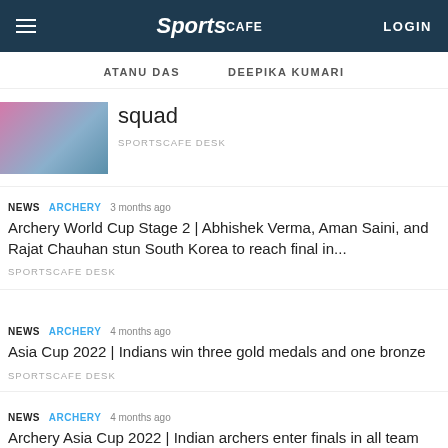Sportscafe LOGIN
ATANU DAS   DEEPIKA KUMARI
squad
SPORTSCAFE DESK
NEWS ARCHERY 3 months ago — Archery World Cup Stage 2 | Abhishek Verma, Aman Saini, and Rajat Chauhan stun South Korea to reach final in...
SPORTSCAFE DESK
NEWS ARCHERY 4 months ago — Asia Cup 2022 | Indians win three gold medals and one bronze
SPORTSCAFE DESK
NEWS ARCHERY 4 months ago — Archery Asia Cup 2022 | Indian archers enter finals in all team events